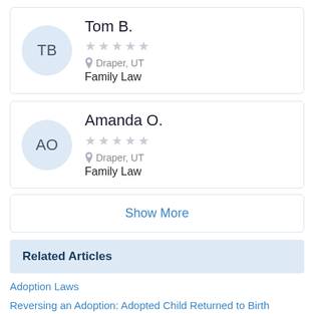TB — Tom B. | ★★★★★ (empty) | Draper, UT | Family Law
AO — Amanda O. | ★★★★★ (empty) | Draper, UT | Family Law
Show More
Related Articles
Adoption Laws
Reversing an Adoption: Adopted Child Returned to Birth